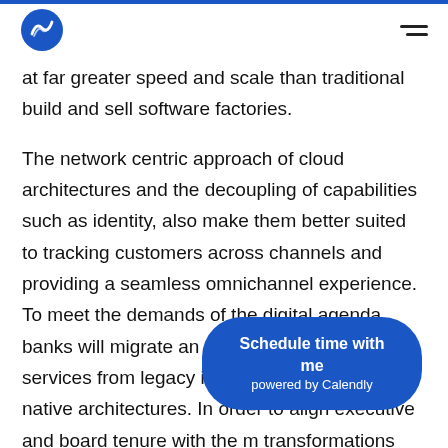[Logo] [Hamburger menu]
at far greater speed and scale than traditional build and sell software factories.

The network centric approach of cloud architectures and the decoupling of capabilities such as identity, also make them better suited to tracking customers across channels and providing a seamless omnichannel experience. To meet the demands of the digital agenda, banks will migrate an increasing number of services from legacy infrastructure to cloud-native architectures. In order to align executive and board tenure with the m[obscured] transformations and replatforming they will